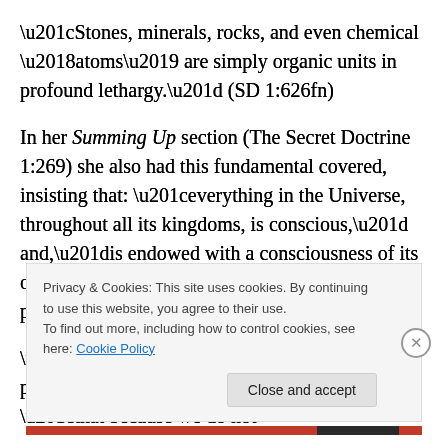“Stones, minerals, rocks, and even chemical ‘atoms’ are simply organic units in profound lethargy.” (SD 1:626fn)
In her Summing Up section (The Secret Doctrine 1:269) she also had this fundamental covered, insisting that: “everything in the Universe, throughout all its kingdoms, is conscious,” and,”is endowed with a consciousness of its own kind and on its own plane of perception.”
“We men must remember,” she said plainly, challenging modern materialistic science, “that because we do not
Privacy & Cookies: This site uses cookies. By continuing to use this website, you agree to their use.
To find out more, including how to control cookies, see here: Cookie Policy